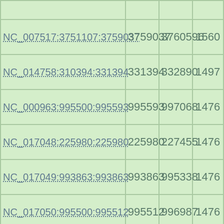|  |  |  |  |
| NC_007517:3751107:3759037 | 3759037 | 3760596 | 1560 |
| NC_014758:310394:331394 | 331394 | 332890 | 1497 |
| NC_000963:995500:995593 | 995593 | 997068 | 1476 |
| NC_017048:225980:225980 | 225980 | 227455 | 1476 |
| NC_017049:993863:993863 | 993863 | 995338 | 1476 |
| NC_017050:995500:995512 | 995512 | 996987 | 1476 |